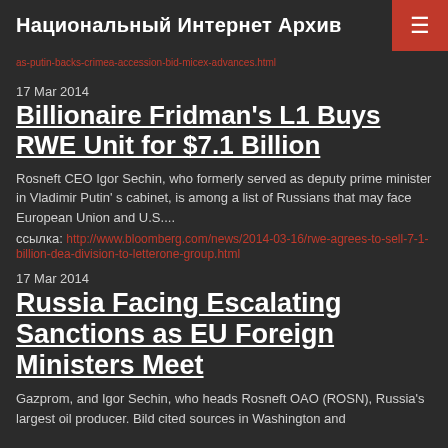Национальный Интернет Архив
as-putin-backs-crimea-accession-bid-micex-advances.html
17 Mar 2014
Billionaire Fridman's L1 Buys RWE Unit for $7.1 Billion
Rosneft CEO Igor Sechin, who formerly served as deputy prime minister in Vladimir Putin' s cabinet, is among a list of Russians that may face European Union and U.S....
ссылка: http://www.bloomberg.com/news/2014-03-16/rwe-agrees-to-sell-7-1-billion-dea-division-to-letterone-group.html
17 Mar 2014
Russia Facing Escalating Sanctions as EU Foreign Ministers Meet
Gazprom, and Igor Sechin, who heads Rosneft OAO (ROSN), Russia's largest oil producer. Bild cited sources in Washington and